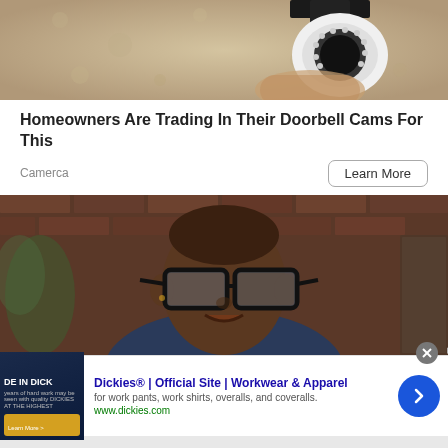[Figure (photo): A white security camera mounted on a textured beige/tan wall, held by a hand, viewed from below]
Homeowners Are Trading In Their Doorbell Cams For This
Camerca
Learn More
[Figure (photo): A man wearing thick black-framed glasses and a dark dotted shirt, seated against a brick wall background with greenery]
[Figure (screenshot): Advertisement banner: Dickies® | Official Site | Workwear & Apparel. for work pants, work shirts, overalls, and coveralls. www.dickies.com]